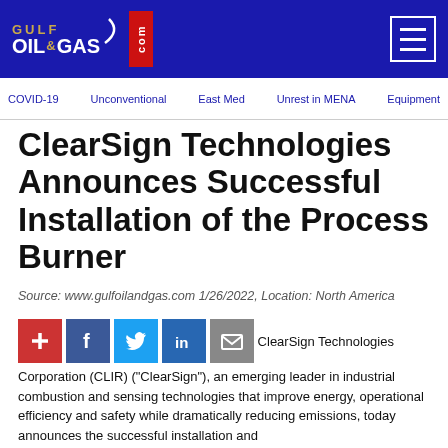GULF OIL&GAS .com
COVID-19  Unconventional  East Med  Unrest in MENA  Equipment
ClearSign Technologies Announces Successful Installation of the Process Burner
Source: www.gulfoilandgas.com 1/26/2022, Location: North America
ClearSign Technologies Corporation (CLIR) ("ClearSign"), an emerging leader in industrial combustion and sensing technologies that improve energy, operational efficiency and safety while dramatically reducing emissions, today announces the successful installation and